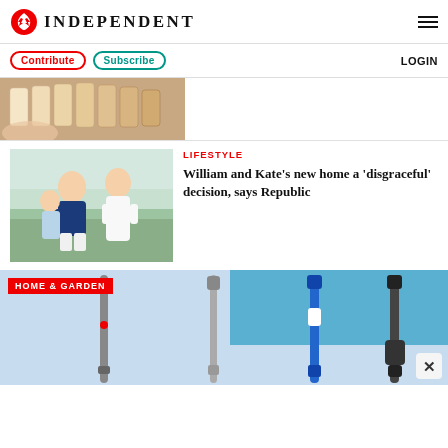INDEPENDENT
Contribute  Subscribe  LOGIN
[Figure (photo): Close-up of dental veneers/teeth color swatches held by hand]
[Figure (photo): Prince William and Kate Middleton walking outdoors with a child]
LIFESTYLE
William and Kate’s new home a ‘disgraceful’ decision, says Republic
[Figure (photo): HOME & GARDEN banner with vacuum cleaner wands/attachments on light blue background]